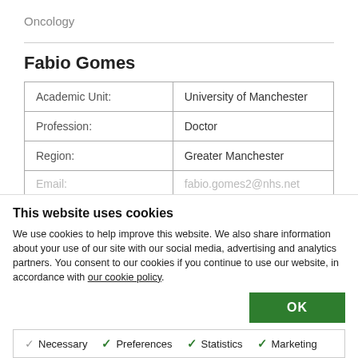Oncology
Fabio Gomes
| Academic Unit: | University of Manchester |
| Profession: | Doctor |
| Region: | Greater Manchester |
| Email: | fabio.gomes2@nhs.net |
This website uses cookies
We use cookies to help improve this website. We also share information about your use of our site with our social media, advertising and analytics partners. You consent to our cookies if you continue to use our website, in accordance with our cookie policy.